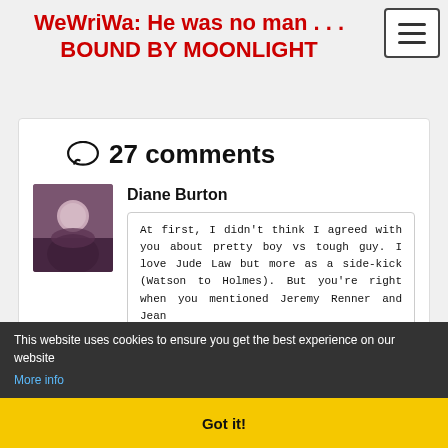WeWriWa: He was no man . . . BOUND BY MOONLIGHT
27 comments
Diane Burton
At first, I didn't think I agreed with you about pretty boy vs tough guy. I love Jude Law but more as a side-kick (Watson to Holmes). But you're right when you mentioned Jeremy Renner and Jean
This website uses cookies to ensure you get the best experience on our website More info
Got it!